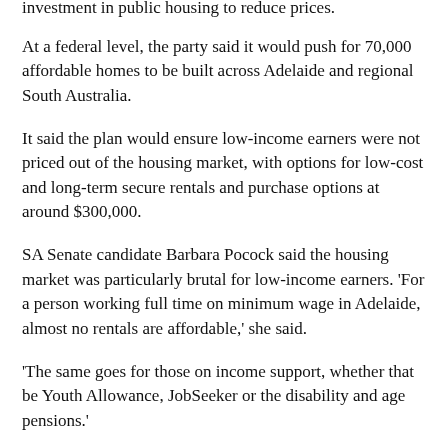investment in public housing to reduce prices. At a federal level, the party said it would push for 70,000 affordable homes to be built across Adelaide and regional South Australia.
It said the plan would ensure low-income earners were not priced out of the housing market, with options for low-cost and long-term secure rentals and purchase options at around $300,000.
SA Senate candidate Barbara Pocock said the housing market was particularly brutal for low-income earners. 'For a person working full time on minimum wage in Adelaide, almost no rentals are affordable,' she said.
'The same goes for those on income support, whether that be Youth Allowance, JobSeeker or the disability and age pensions.'
Sitting SA Senator Sarah Hanson-Young said it was a disgrace that so many Australians could not afford basic housing.